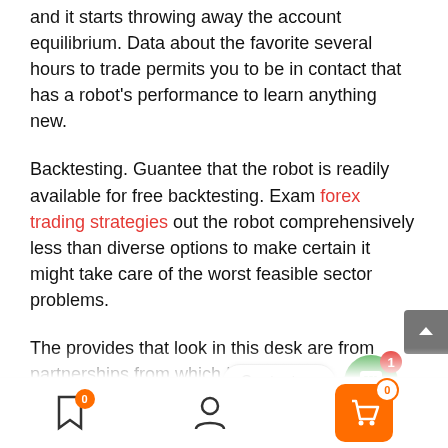and it starts throwing away the account equilibrium. Data about the favorite several hours to trade permits you to be in contact that has a robot's performance to learn anything new.
Backtesting. Guantee that the robot is readily available for free backtesting. Exam forex trading strategies out the robot comprehensively less than diverse options to make certain it might take care of the worst feasible sector problems.
The provides that look in this desk are from partnerships from which Investopedia receiv                    on compensation may impact how and exactly where